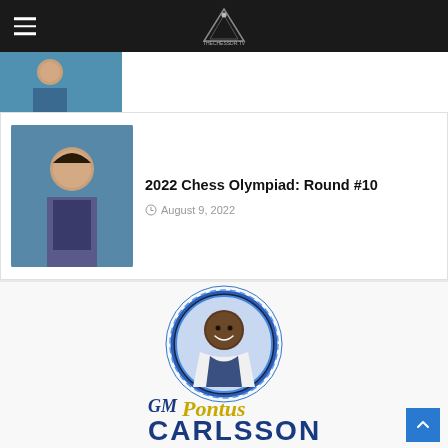The Chess Dr. — Navigation header with hamburger menu and site logo
[Figure (photo): Partial thumbnail of a chess article image (top, cropped)]
2022 Chess Olympiad: Round #10
August 9, 2022
[Figure (photo): Promotional graphic for GM Pontus Carlsson featuring a smiling man in a white blazer inside a circular blue frame, with stylized text 'GM Pontus CARLSSON' in blue and gold below]